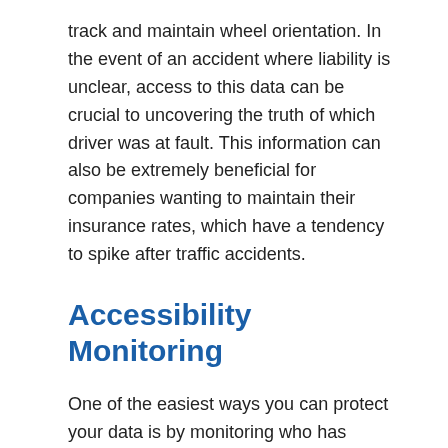track and maintain wheel orientation. In the event of an accident where liability is unclear, access to this data can be crucial to uncovering the truth of which driver was at fault. This information can also be extremely beneficial for companies wanting to maintain their insurance rates, which have a tendency to spike after traffic accidents.
Accessibility Monitoring
One of the easiest ways you can protect your data is by monitoring who has access to it. Say your company dawdles when removing access codes after a necessary employee layoff. This leisurely deletion can lead to digital vulnerabilities. Disgruntled former employees can use their company information to interrupt your business process, potentially causing you to lose money and time. Mismanagement of